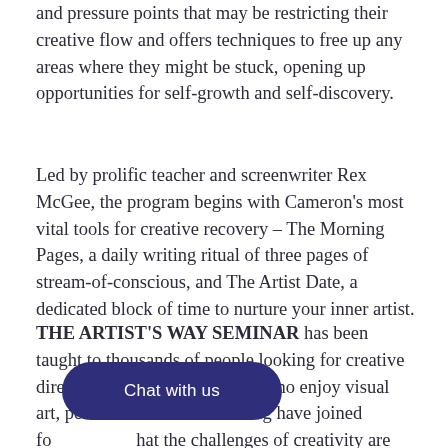and pressure points that may be restricting their creative flow and offers techniques to free up any areas where they might be stuck, opening up opportunities for self-growth and self-discovery.
Led by prolific teacher and screenwriter Rex McGee, the program begins with Cameron's most vital tools for creative recovery – The Morning Pages, a daily writing ritual of three pages of stream-of-conscious, and The Artist Date, a dedicated block of time to nurture your inner artist.
THE ARTIST'S WAY SEMINAR has been taught to thousands of people looking for creative direction in their lives. People who enjoy visual art, performance art and writing have joined fo[r ... ]hat the challenges of creativity are not uni[que to a partic]ular art form.